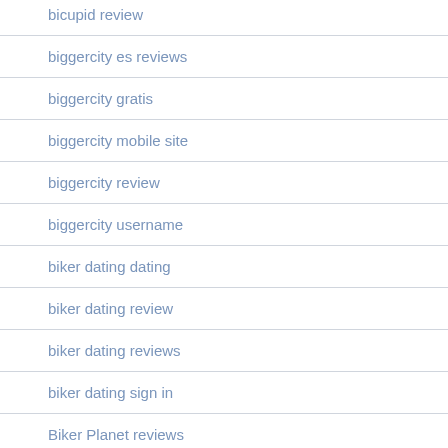bicupid review
biggercity es reviews
biggercity gratis
biggercity mobile site
biggercity review
biggercity username
biker dating dating
biker dating review
biker dating reviews
biker dating sign in
Biker Planet reviews